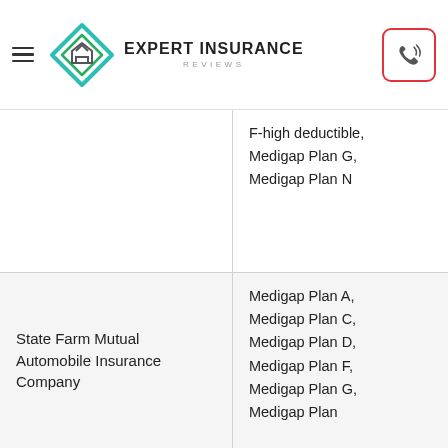Expert Insurance Reviews
| Company | Plans Available |
| --- | --- |
|  | F-high deductible, Medigap Plan G, Medigap Plan N |
| State Farm Mutual Automobile Insurance Company | Medigap Plan A, Medigap Plan C, Medigap Plan D, Medigap Plan F, Medigap Plan G, Medigap Plan |